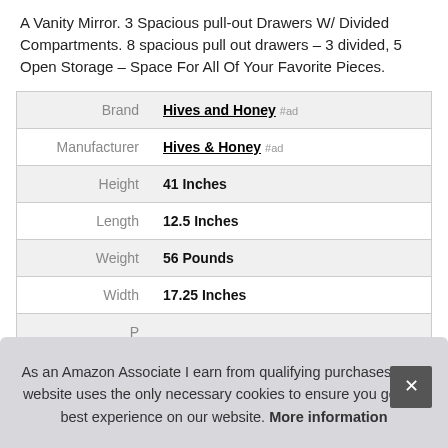A Vanity Mirror. 3 Spacious pull-out Drawers W/ Divided Compartments. 8 spacious pull out drawers – 3 divided, 5 Open Storage – Space For All Of Your Favorite Pieces.
|  |  |
| --- | --- |
| Brand | Hives and Honey #ad |
| Manufacturer | Hives & Honey #ad |
| Height | 41 Inches |
| Length | 12.5 Inches |
| Weight | 56 Pounds |
| Width | 17.25 Inches |
| P |  |
As an Amazon Associate I earn from qualifying purchases. This website uses the only necessary cookies to ensure you get the best experience on our website. More information